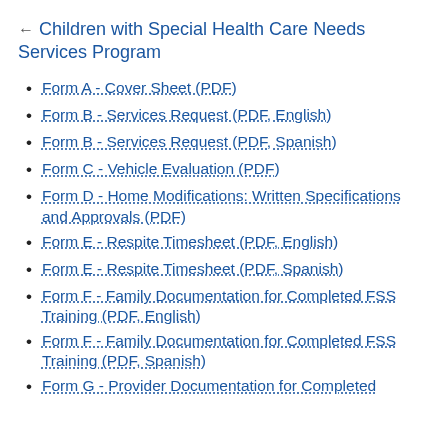← Children with Special Health Care Needs Services Program
Form A - Cover Sheet (PDF)
Form B - Services Request (PDF, English)
Form B - Services Request (PDF, Spanish)
Form C - Vehicle Evaluation (PDF)
Form D - Home Modifications: Written Specifications and Approvals (PDF)
Form E - Respite Timesheet (PDF, English)
Form E - Respite Timesheet (PDF, Spanish)
Form F - Family Documentation for Completed FSS Training (PDF, English)
Form F - Family Documentation for Completed FSS Training (PDF, Spanish)
Form G - Provider Documentation for Completed